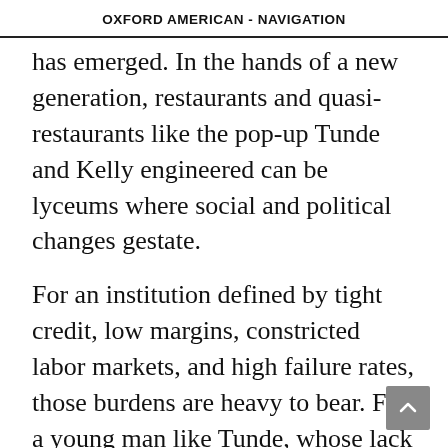OXFORD AMERICAN - NAVIGATION
has emerged. In the hands of a new generation, restaurants and quasi-restaurants like the pop-up Tunde and Kelly engineered can be lyceums where social and political changes gestate.
For an institution defined by tight credit, low margins, constricted labor markets, and high failure rates, those burdens are heavy to bear. For a young man like Tunde, whose lack of capital drove his choice to work the pop-up circuit instead of building a brick-and-mortar, pop-ups efforts are all he has.